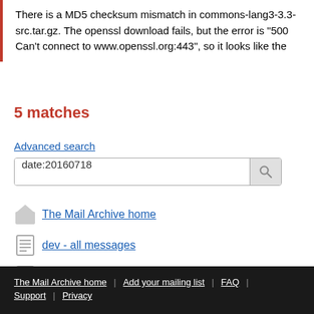There is a MD5 checksum mismatch in commons-lang3-3.3-src.tar.gz. The openssl download fails, but the error is "500 Can't connect to www.openssl.org:443", so it looks like the
5 matches
Advanced search
date:20160718
The Mail Archive home
dev - all messages
dev - about the list
Expand
The Mail Archive home | Add your mailing list | FAQ | Support | Privacy